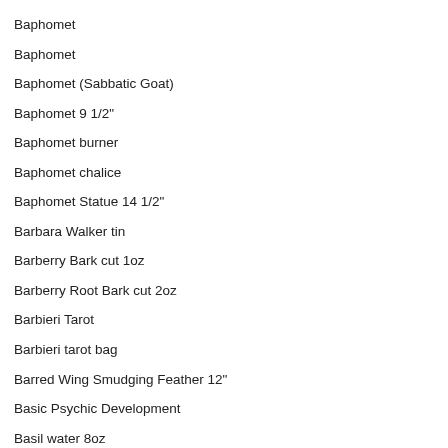Baphomet
Baphomet
Baphomet (Sabbatic Goat)
Baphomet 9 1/2"
Baphomet burner
Baphomet chalice
Baphomet Statue 14 1/2"
Barbara Walker tin
Barberry Bark cut 1oz
Barberry Root Bark cut 2oz
Barbieri Tarot
Barbieri tarot bag
Barred Wing Smudging Feather 12"
Basic Psychic Development
Basil water 8oz